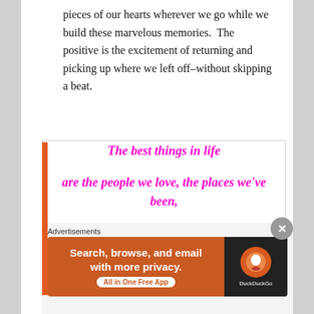pieces of our hearts wherever we go while we build these marvelous memories.  The positive is the excitement of returning and picking up where we left off–without skipping a beat.
The best things in life are the people we love, the places we've been, and the memories we've made.
Advertisements